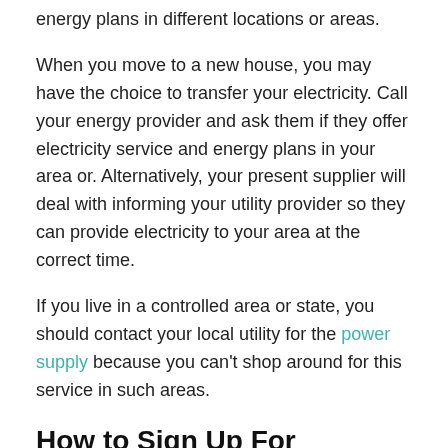energy plans in different locations or areas.
When you move to a new house, you may have the choice to transfer your electricity. Call your energy provider and ask them if they offer electricity service and energy plans in your area or. Alternatively, your present supplier will deal with informing your utility provider so they can provide electricity to your area at the correct time.
If you live in a controlled area or state, you should contact your local utility for the power supply because you can't shop around for this service in such areas.
How to Sign Up For Electricity Service in Campville, FL
After selecting your new energy provider for your house, call